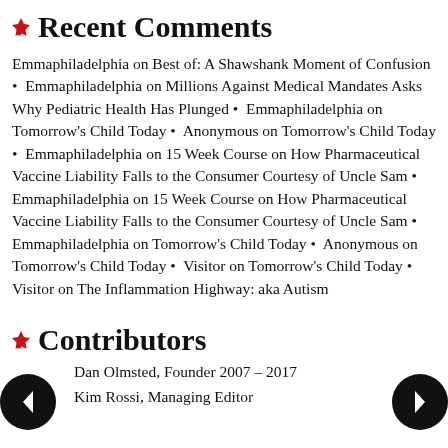Recent Comments
Emmaphiladelphia on Best of: A Shawshank Moment of Confusion • Emmaphiladelphia on Millions Against Medical Mandates Asks Why Pediatric Health Has Plunged • Emmaphiladelphia on Tomorrow's Child Today • Anonymous on Tomorrow's Child Today • Emmaphiladelphia on 15 Week Course on How Pharmaceutical Vaccine Liability Falls to the Consumer Courtesy of Uncle Sam • Emmaphiladelphia on 15 Week Course on How Pharmaceutical Vaccine Liability Falls to the Consumer Courtesy of Uncle Sam • Emmaphiladelphia on Tomorrow's Child Today • Anonymous on Tomorrow's Child Today • Visitor on Tomorrow's Child Today • Visitor on The Inflammation Highway: aka Autism
Contributors
Dan Olmsted, Founder 2007 – 2017
Kim Rossi, Managing Editor